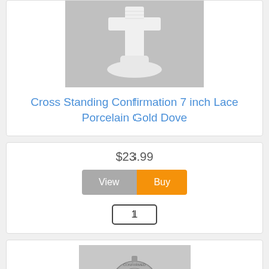[Figure (photo): White porcelain lace cross standing figurine on gray background]
Cross Standing Confirmation 7 inch Lace Porcelain Gold Dove
$23.99
[Figure (screenshot): View and Buy buttons with quantity input showing 1]
[Figure (photo): Silver/pewter confirmation ornament with dove design on gray background]